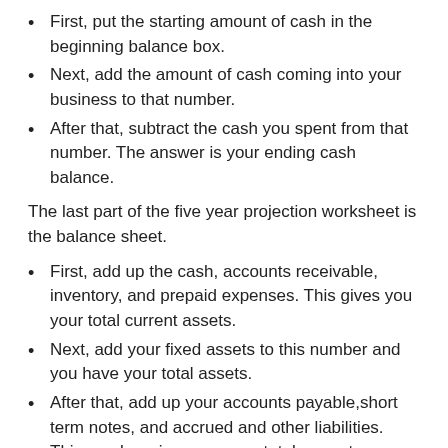First, put the starting amount of cash in the beginning balance box.
Next, add the amount of cash coming into your business to that number.
After that, subtract the cash you spent from that number. The answer is your ending cash balance.
The last part of the five year projection worksheet is the balance sheet.
First, add up the cash, accounts receivable, inventory, and prepaid expenses. This gives you your total current assets.
Next, add your fixed assets to this number and you have your total assets.
After that, add up your accounts payable,short term notes, and accrued and other liabilities. This number gives you your total current liabilities.